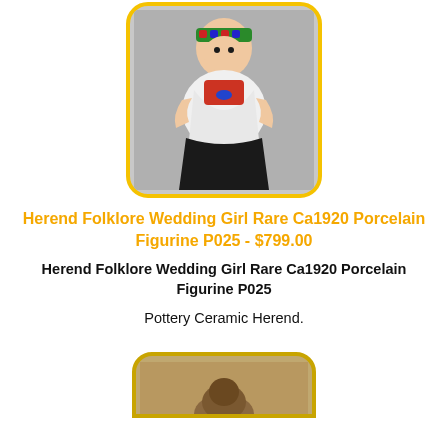[Figure (photo): Photo of a Herend Folklore Wedding Girl porcelain figurine wearing a colorful folk costume with a decorated headdress, white top, and black skirt, displayed with a yellow rounded border frame.]
Herend Folklore Wedding Girl Rare Ca1920 Porcelain Figurine P025 - $799.00
Herend Folklore Wedding Girl Rare Ca1920 Porcelain Figurine P025
Pottery Ceramic Herend.
[Figure (photo): Partial photo of another product item, cropped at the bottom of the page, with a yellow/tan rounded border frame.]